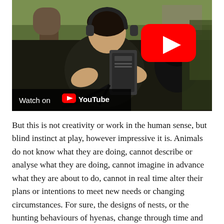[Figure (screenshot): YouTube video thumbnail showing a person with headphones holding audio/video equipment outdoors near trees, with a red YouTube play button overlay and a 'Watch on YouTube' bar at the bottom left.]
But this is not creativity or work in the human sense, but blind instinct at play, however impressive it is. Animals do not know what they are doing, cannot describe or analyse what they are doing, cannot imagine in advance what they are about to do, cannot in real time alter their plans or intentions to meet new needs or changing circumstances. For sure, the designs of nests, or the hunting behaviours of hyenas, change through time and metamorphosing environments, but this is a result of chance forces operating over hundreds of thousands of